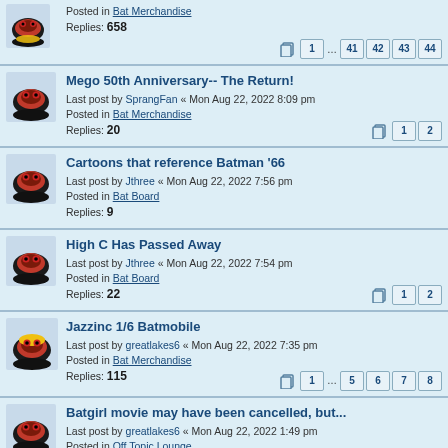Posted in Bat Merchandise
Replies: 658
Pages: 1 ... 41 42 43 44
Mego 50th Anniversary-- The Return!
Last post by SprangFan « Mon Aug 22, 2022 8:09 pm
Posted in Bat Merchandise
Replies: 20
Pages: 1 2
Cartoons that reference Batman '66
Last post by Jthree « Mon Aug 22, 2022 7:56 pm
Posted in Bat Board
Replies: 9
High C Has Passed Away
Last post by Jthree « Mon Aug 22, 2022 7:54 pm
Posted in Bat Board
Replies: 22
Pages: 1 2
Jazzinc 1/6 Batmobile
Last post by greatlakes6 « Mon Aug 22, 2022 7:35 pm
Posted in Bat Merchandise
Replies: 115
Pages: 1 ... 5 6 7 8
Batgirl movie may have been cancelled, but...
Last post by greatlakes6 « Mon Aug 22, 2022 1:49 pm
Posted in Off Topic Lounge
Replies: 2
Bubble Gum Exit & Secret Elevator prop signs
Last post by rsaffle « Mon Aug 22, 2022 8:14 am
Posted in Bat Crafts
Kid names